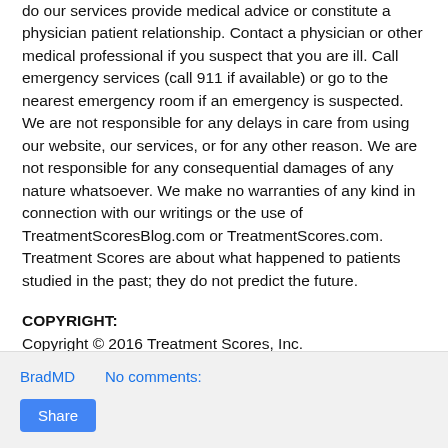do our services provide medical advice or constitute a physician patient relationship. Contact a physician or other medical professional if you suspect that you are ill. Call emergency services (call 911 if available) or go to the nearest emergency room if an emergency is suspected. We are not responsible for any delays in care from using our website, our services, or for any other reason. We are not responsible for any consequential damages of any nature whatsoever. We make no warranties of any kind in connection with our writings or the use of TreatmentScoresBlog.com or TreatmentScores.com. Treatment Scores are about what happened to patients studied in the past; they do not predict the future.
COPYRIGHT:
Copyright © 2016 Treatment Scores, Inc.
BradMD   No comments:   Share